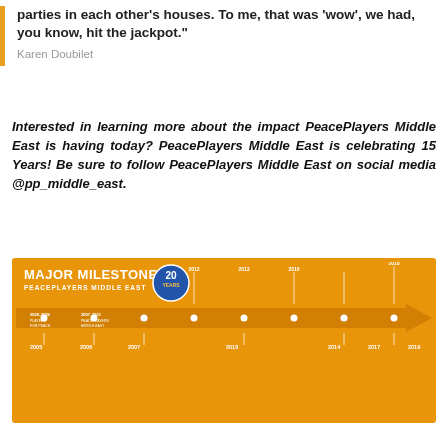parties in each other's houses. To me, that was 'wow', we had, you know, hit the jackpot."
Karen Doubilet
Interested in learning more about the impact PeacePlayers Middle East is having today? PeacePlayers Middle East is celebrating 15 Years! Be sure to follow PeacePlayers Middle East on social media @pp_middle_east.
[Figure (infographic): Major Milestones PeacePlayers Middle East timeline infographic on orange background with arrow shape showing milestones from 2005 to 2019, with 20 Years badge.]